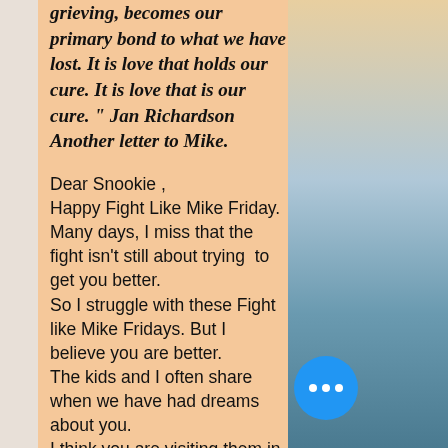grieving, becomes our primary bond to what we have lost. It is love that holds our cure. It is love that is our cure." Jan Richardson
Another letter to Mike.
Dear Snookie ,
Happy Fight Like Mike Friday.
Many days, I miss that the fight isn't still about trying to get you better.
So I struggle with these Fight like Mike Fridays. But I believe you are better.
The kids and I often share when we have had dreams about you.
I think you are visiting them in their sleep too.
  We have had shared some similar ones where you have been flying [...]  plane.
[Figure (photo): Right side photo/background showing a blurred sky with gradient from warm peach at top to teal/blue tones at bottom, representing an outdoor scene]